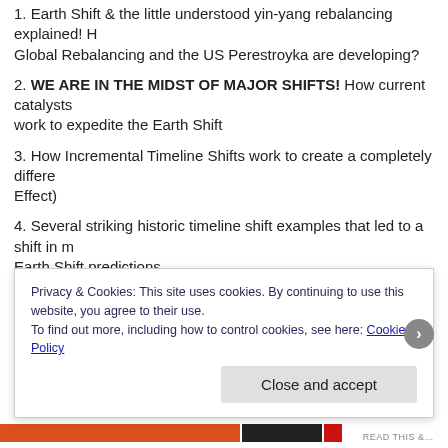1. Earth Shift & the little understood yin-yang rebalancing explained! How Global Rebalancing and the US Perestroyka are developing?
2. WE ARE IN THE MIDST OF MAJOR SHIFTS! How current catalysts work to expedite the Earth Shift
3. How Incremental Timeline Shifts work to create a completely different Effect)
4. Several striking historic timeline shift examples that led to a shift in my Earth Shift predictions
5. How COVID-19 creates timeline shifts in personal reality
6. The Kissinger doctrine & the USA-Russia-China triangle
7. Trump’s role: is he the inverted Gorbachev/Yeltsin combo 2.0?
Privacy & Cookies: This site uses cookies. By continuing to use this website, you agree to their use.
To find out more, including how to control cookies, see here: Cookie Policy
Close and accept